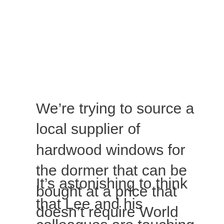We're trying to source a local supplier of hardwood windows for the dormer that can be bought at a price that doesn't require World Bank intervention, any help with potential suppliers on this one would be appreciated.
It's astonishing to think that Lee and his colleagues are touching bricks that were last handled by skilled craftsmen and tradesmen in the late seventeenth century when William